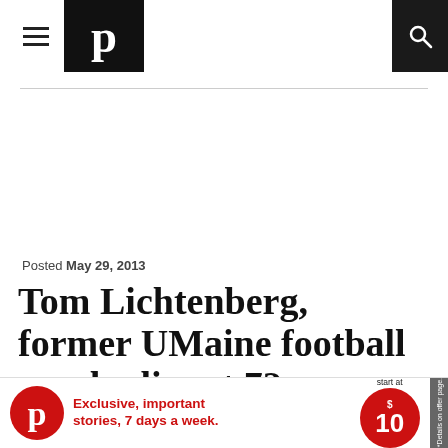Portland Press Herald — navigation header with hamburger menu, logo, and search icon
Posted May 29, 2013
Tom Lichtenberg, former UMaine football coach, dies at 72
In his only season at the helm, Lichtenberg led the Black Bears to a 9-3 record and the 1989
[Figure (infographic): Advertisement banner: Portland Press Herald subscription ad — 'Exclusive, important stories, 7 days a week. Subscriptions start at $10 SUBSCRIBE NOW']